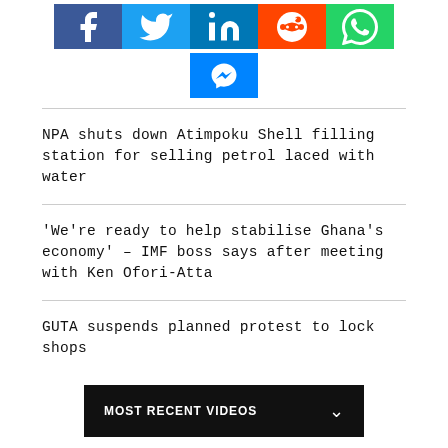[Figure (infographic): Social media share buttons: Facebook (blue), Twitter (light blue), LinkedIn (blue), Reddit (orange), WhatsApp (green), Messenger (blue)]
NPA shuts down Atimpoku Shell filling station for selling petrol laced with water
'We're ready to help stabilise Ghana's economy' – IMF boss says after meeting with Ken Ofori-Atta
GUTA suspends planned protest to lock shops
MOST RECENT VIDEOS
MOST RECENT AUDIO
MOST RECENT GALLERY